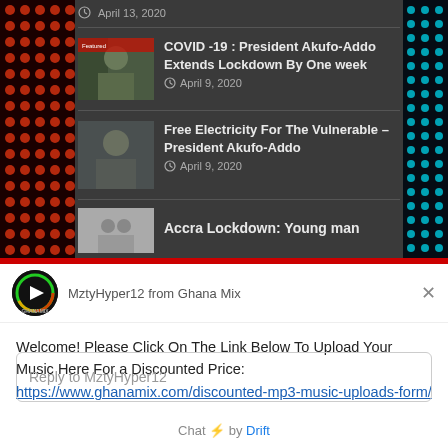[Figure (screenshot): Dark-themed news website showing list of news articles with thumbnails. Left side has orange/red dot pattern decorative background, right side has cyan dot pattern. Articles listed include COVID-19 Lockdown extension and Free Electricity news items.]
April 13, 2020
COVID -19 : President Akufo-Addo Extends Lockdown By One week
April 9, 2020
Free Electricity For The Vulnerable – President Akufo-Addo
April 9, 2020
Accra Lockdown: Young man
MztyHyper12 from Ghana Mix
Welcome! Please Click On The Link Below To Upload Your Music Here For a Discounted Price: https://www.ghanamix.com/discounted-mp3-music-uploads-form/
Reply to MztyHyper12
Chat ⚡ by Drift